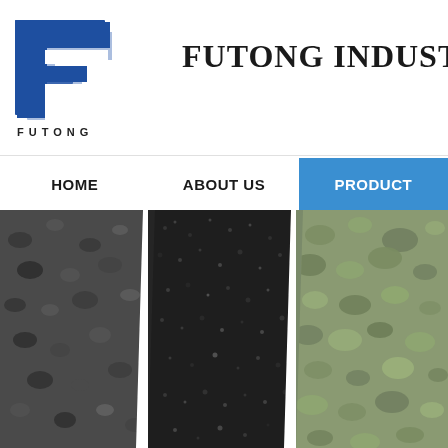[Figure (logo): Futong Industry Co. logo - stylized F letter mark in blue with 'FUTONG' text below]
FUTONG INDUSTRY C
[Figure (screenshot): Website navigation bar with HOME, ABOUT US, PRODUCTS (active/highlighted in blue) menu items]
[Figure (photo): Three panels of industrial granular materials: dark gray/black coarse aggregate on left, fine black granules in center, green powder/material on right, separated by white diagonal lines]